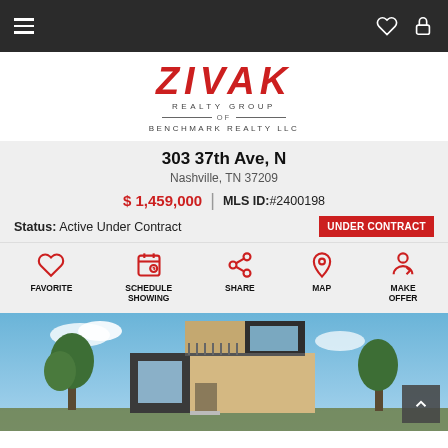Navigation bar with hamburger menu and icons
[Figure (logo): ZIVAK Realty Group of Benchmark Realty LLC logo in red and dark text]
303 37th Ave, N
Nashville, TN 37209
$ 1,459,000 | MLS ID:#2400198
Status: Active Under Contract   UNDER CONTRACT
FAVORITE   SCHEDULE SHOWING   SHARE   MAP   MAKE OFFER
[Figure (photo): Modern two-story house exterior with beige and dark panels, blue sky background, trees visible]